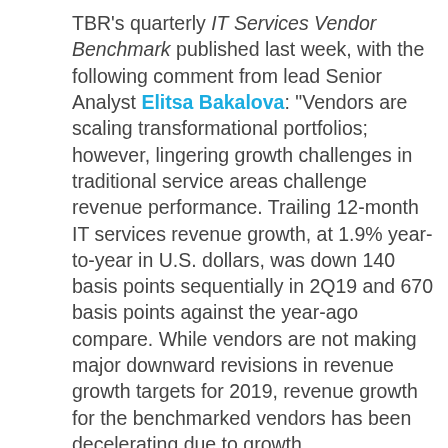TBR's quarterly IT Services Vendor Benchmark published last week, with the following comment from lead Senior Analyst Elitsa Bakalova: "Vendors are scaling transformational portfolios; however, lingering growth challenges in traditional service areas challenge revenue performance. Trailing 12-month IT services revenue growth, at 1.9% year-to-year in U.S. dollars, was down 140 basis points sequentially in 2Q19 and 670 basis points against the year-ago compare. While vendors are not making major downward revisions in revenue growth targets for 2019, revenue growth for the benchmarked vendors has been decelerating due to growth challenges across multiple traditional service areas.